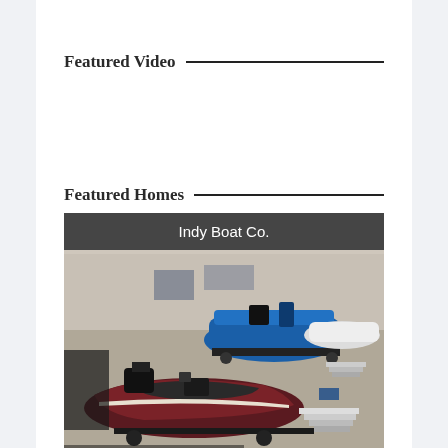Featured Video
Featured Homes
[Figure (photo): Indy Boat Co. — indoor boat show display with multiple boats on trailers including a dark red/maroon boat in foreground and blue boats in background, inside an exhibition hall.]